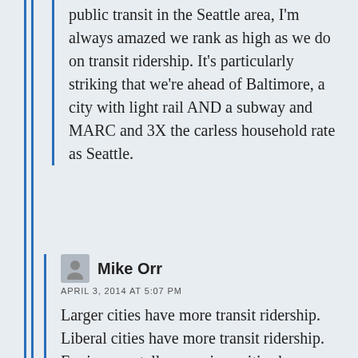public transit in the Seattle area, I'm always amazed we rank as high as we do on transit ridership. It's particularly striking that we're ahead of Baltimore, a city with light rail AND a subway and MARC and 3X the carless household rate as Seattle.
Mike Orr
APRIL 3, 2014 AT 5:07 PM
Larger cities have more transit ridership. Liberal cities have more transit ridership. Environmentally-conscious cities have more transit